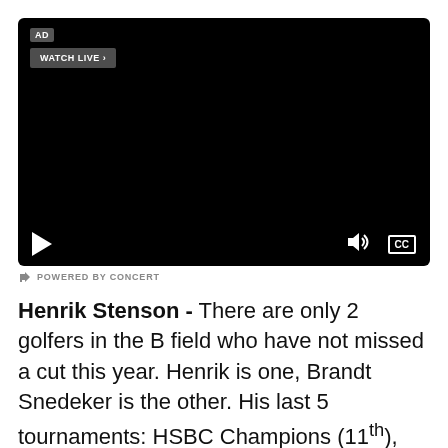[Figure (screenshot): Black video player with AD badge, WATCH LIVE button, play button, volume icon, and CC button]
POWERED BY CONCERT
Henrik Stenson - There are only 2 golfers in the B field who have not missed a cut this year. Henrik is one, Brandt Snedeker is the other. His last 5 tournaments: HSBC Champions (11th), Cadillac Championship (28th), Valspar Championship (11th), Arnold Palmer Invitational (3rd) and Shell Houston